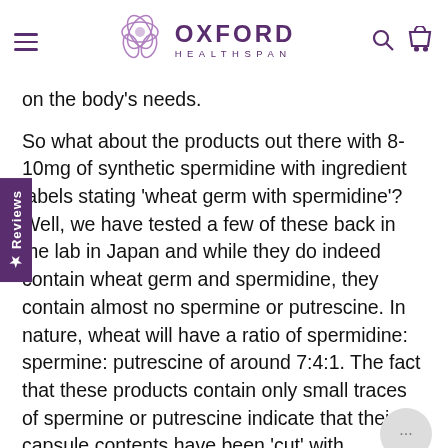Oxford Healthspan
on the body's needs.
So what about the products out there with 8-10mg of synthetic spermidine with ingredient labels stating 'wheat germ with spermidine'? Well, we have tested a few of these back in the lab in Japan and while they do indeed contain wheat germ and spermidine, they contain almost no spermine or putrescine. In nature, wheat will have a ratio of spermidine: spermine: putrescine of around 7:4:1. The fact that these products contain only small traces of spermine or putrescine indicate that their capsule contents have been 'cut' with synthetic spermidine, likely for cost reasons.
So does handedness make a difference to your cells